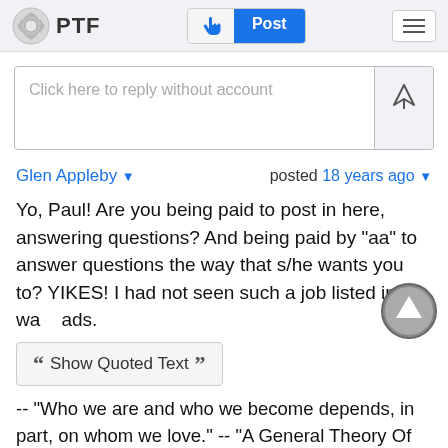PTF — Post
Click here to reply without account
Glen Appleby ▾     posted 18 years ago ▾
Yo, Paul! Are you being paid to post in here, answering questions? And being paid by "aa" to answer questions the way that s/he wants you to? YIKES! I had not seen such a job listed in the want ads.
❝ Show Quoted Text ❞
-- "Who we are and who we become depends, in part, on whom we love." -- "A General Theory Of Love"